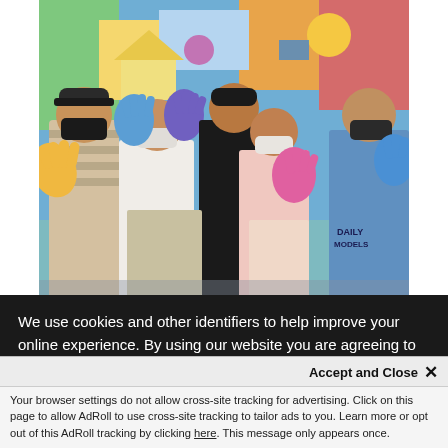[Figure (photo): Children and youth wearing face masks with colorful paint on their hands (yellow, blue, pink, blue), holding hands up toward the camera in front of a graffiti mural.]
Children and youth from the Local Integration Center La Milagrosa in Colombia paint their dreams and hopes for the future in the mural Dreaming Together. ©
We use cookies and other identifiers to help improve your online experience. By using our website you are agreeing to this. Read our privacy policy to find out what cookies are used for and how to change your settings.
Accept and Close ✕
Your browser settings do not allow cross-site tracking for advertising. Click on this page to allow AdRoll to use cross-site tracking to tailor ads to you. Learn more or opt out of this AdRoll tracking by clicking here. This message only appears once.